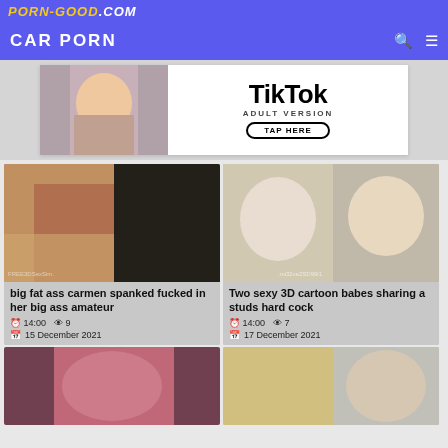PORN-GOOD.COM
CAR PORN
[Figure (photo): TikTok Adult Version advertisement banner]
[Figure (screenshot): Thumbnail: big fat ass carmen spanked fucked in her big ass amateur]
big fat ass carmen spanked fucked in her big ass amateur
14:00  9  15 December 2021
[Figure (screenshot): Thumbnail: Two sexy 3D cartoon babes sharing a studs hard cock]
Two sexy 3D cartoon babes sharing a studs hard cock
14:00  7  17 December 2021
[Figure (photo): Bottom left thumbnail]
[Figure (photo): Bottom right thumbnail]